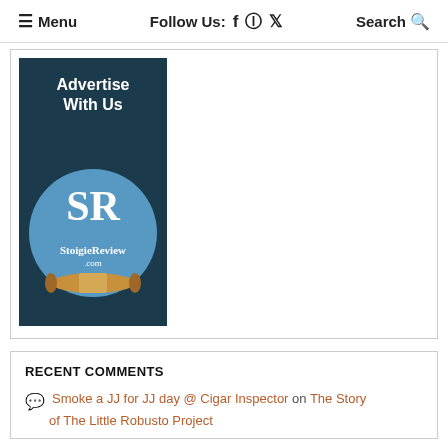≡ Menu   Follow Us: f ⊕ 𝕋   Search 🔍
[Figure (illustration): Dark teal advertisement banner with text 'Advertise With Us' and Stogie Review logo — a blue circle with SR initials and a cigar, text StoigieReview.com]
RECENT COMMENTS
Smoke a JJ for JJ day @ Cigar Inspector on The Story of The Little Robusto Project